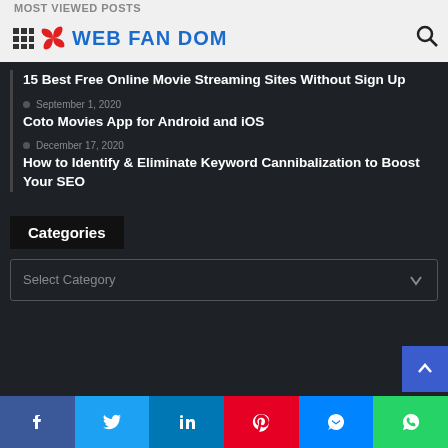Most Viewed Posts
WEB FAN DOM
15 Best Free Online Movie Streaming Sites Without Sign Up
September 1, 2020
Coto Movies App for Android and iOS
December 17, 2020
How to Identify & Eliminate Keyword Cannibalization to Boost Your SEO
Categories
Select Category
Facebook Twitter LinkedIn Pinterest Messenger WhatsApp